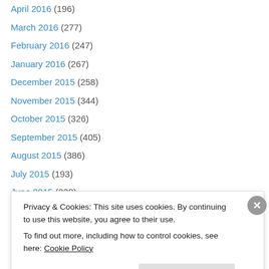April 2016 (196)
March 2016 (277)
February 2016 (247)
January 2016 (267)
December 2015 (258)
November 2015 (344)
October 2015 (326)
September 2015 (405)
August 2015 (386)
July 2015 (193)
June 2015 (228)
May 2015 (133)
April 2015 (19)
Privacy & Cookies: This site uses cookies. By continuing to use this website, you agree to their use. To find out more, including how to control cookies, see here: Cookie Policy
Close and accept